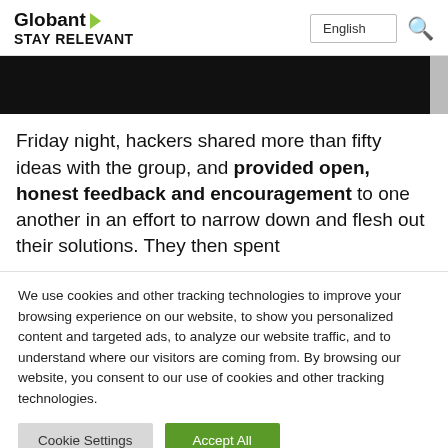Globant STAY RELEVANT — English [language selector] [search icon]
[Figure (other): Black navigation banner with scroll indicator on right side]
Friday night, hackers shared more than fifty ideas with the group, and provided open, honest feedback and encouragement to one another in an effort to narrow down and flesh out their solutions. They then spent
We use cookies and other tracking technologies to improve your browsing experience on our website, to show you personalized content and targeted ads, to analyze our website traffic, and to understand where our visitors are coming from. By browsing our website, you consent to our use of cookies and other tracking technologies.
Cookie Settings | Accept All